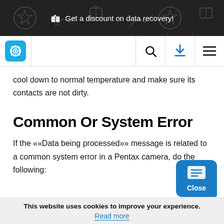Get a discount on data recovery!
[Figure (screenshot): Navigation bar with logo (gear icon in teal box), search icon, download icon (blue), and hamburger menu icon]
cool down to normal temperature and make sure its contacts are not dirty.
Common Or System Error
If the ««Data being processed»» message is related to a common system error in a Pentax camera, do the following:
This website uses cookies to improve your experience. Read more